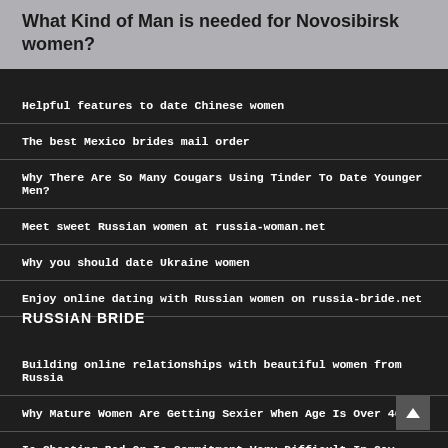What Kind of Man is needed for Novosibirsk women?
Helpful features to date Chinese women
The best Mexico brides mail order
Why There Are So Many Cougars Using Tinder To Date Younger Men?
Meet sweet Russian women at russia-woman.net
Why you should date Ukraine women
Enjoy online dating with Russian women on russia-bride.net
RUSSIAN BRIDE
Building online relationships with beautiful women from Russia
Why Mature Women Are Getting Sexier When Age Is Over 40?
Is Cheating Bad Or Is Commitment Very Difficult In Gay Relationships